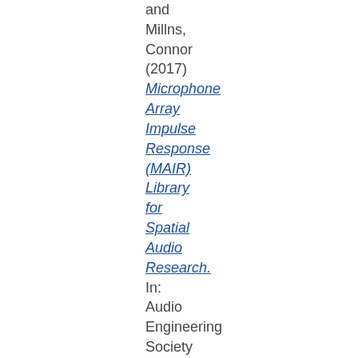Hyunkook and Millns, Connor (2017) Microphone Array Impulse Response (MAIR) Library for Spatial Audio Research. In: Audio Engineering Society 143rd international convention...